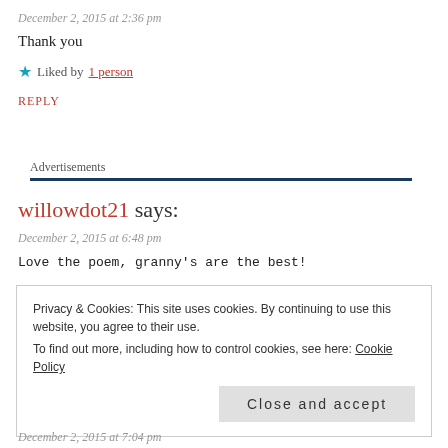December 2, 2015 at 2:36 pm
Thank you
★ Liked by 1 person
REPLY
Advertisements
willowdot21 says:
December 2, 2015 at 6:48 pm
Love the poem, granny's are the best!
Privacy & Cookies: This site uses cookies. By continuing to use this website, you agree to their use. To find out more, including how to control cookies, see here: Cookie Policy
Close and accept
December 2, 2015 at 7:04 pm